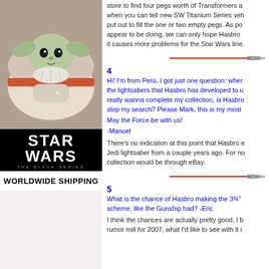[Figure (photo): Baby Yoda (Grogu) figure in a pod, Star Wars The Black Series branding with 'WORLDWIDE SHIPPING' text below on a black banner]
store to find four pegs worth of Transformers and when you can tell new SW Titanium Series vehicles put out to fill the one or two empty pegs. As po appear to be doing, we can only hope Hasbro it causes more problems for the Star Wars line.
[Figure (illustration): Red lightsaber divider graphic]
4
Hi! I'm from Perú, I got just one question: where the lightsabers that Hasbro has developed to use really wanna complete my collection, is Hasbro stop my search? Please Mark, this is my most
May the Force be with us!
-Manuel
There's no indication at this point that Hasbro e Jedi lightsaber from a couple years ago. For no collection would be through eBay.
[Figure (illustration): Red lightsaber divider graphic]
5
What is the chance of Hasbro making the 3¾" scheme, like the Gunship had? -Eric
I think the chances are actually pretty good, I b rumor mill for 2007, what I'd like to see with it i